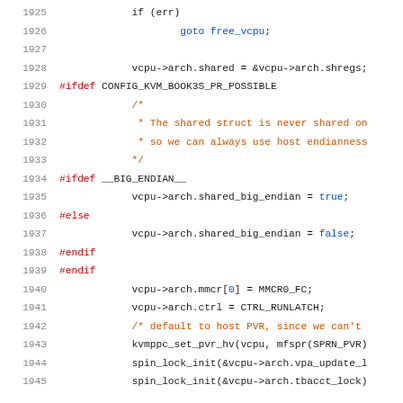Source code listing lines 1925-1945, C/kernel code with syntax highlighting
1925: if (err)
1926:     goto free_vcpu;
1927: (blank)
1928:     vcpu->arch.shared = &vcpu->arch.shregs;
1929: #ifdef CONFIG_KVM_BOOK3S_PR_POSSIBLE
1930:     /*
1931:      * The shared struct is never shared on
1932:      * so we can always use host endianness
1933:      */
1934: #ifdef __BIG_ENDIAN__
1935:     vcpu->arch.shared_big_endian = true;
1936: #else
1937:     vcpu->arch.shared_big_endian = false;
1938: #endif
1939: #endif
1940:     vcpu->arch.mmcr[0] = MMCR0_FC;
1941:     vcpu->arch.ctrl = CTRL_RUNLATCH;
1942:     /* default to host PVR, since we can't
1943:     kvmppc_set_pvr_hv(vcpu, mfspr(SPRN_PVR)
1944:     spin_lock_init(&vcpu->arch.vpa_update_l
1945:     spin_lock_init(&vcpu->arch.tbacct_lock)